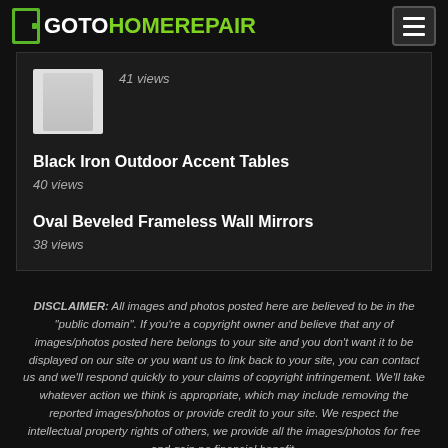GOTOHOMEREPAIR
41 views
Black Iron Outdoor Accent Tables
40 views
Oval Beveled Frameless Wall Mirrors
38 views
DISCLAIMER: All images and photos posted here are believed to be in the "public domain". If you're a copyright owner and believe that any of images/photos posted here belongs to your site and you don't want it to be displayed on our site or you want us to link back to your site, you can contact us and we'll respond quickly to your claims of copyright infringement. We'll take whatever action we think is appropriate, which may include removing the reported images/photos or provide credit to your site. We respect the intellectual property rights of others, we provide all the images/photos for free and gain no financial benefit.